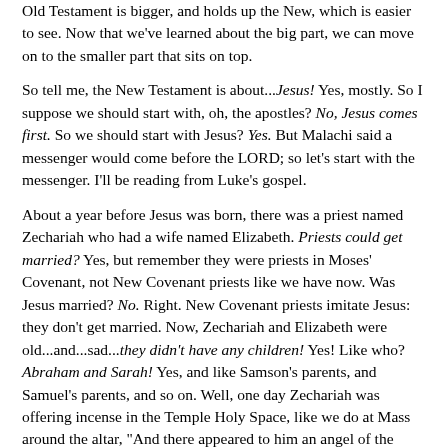Old Testament is bigger, and holds up the New, which is easier to see. Now that we've learned about the big part, we can move on to the smaller part that sits on top.
So tell me, the New Testament is about...Jesus! Yes, mostly. So I suppose we should start with, oh, the apostles? No, Jesus comes first. So we should start with Jesus? Yes. But Malachi said a messenger would come before the LORD; so let's start with the messenger. I'll be reading from Luke's gospel.
About a year before Jesus was born, there was a priest named Zechariah who had a wife named Elizabeth. Priests could get married? Yes, but remember they were priests in Moses' Covenant, not New Covenant priests like we have now. Was Jesus married? No. Right. New Covenant priests imitate Jesus: they don't get married. Now, Zechariah and Elizabeth were old...and...sad...they didn't have any children! Yes! Like who? Abraham and Sarah! Yes, and like Samson's parents, and Samuel's parents, and so on. Well, one day Zechariah was offering incense in the Temple Holy Space, like we do at Mass around the altar, "And there appeared to him an angel of the Lord standing on the right...